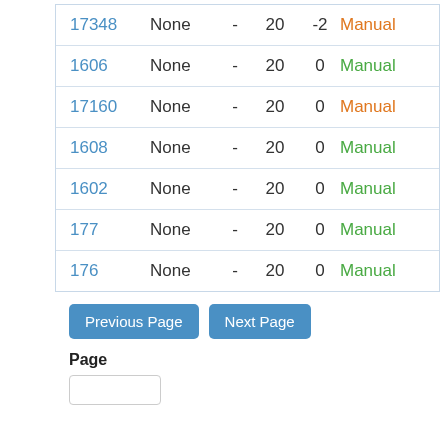| ID | Type | - | 20 | Val | Status |
| --- | --- | --- | --- | --- | --- |
| 17348 | None | - | 20 | -2 | Manual |
| 1606 | None | - | 20 | 0 | Manual |
| 17160 | None | - | 20 | 0 | Manual |
| 1608 | None | - | 20 | 0 | Manual |
| 1602 | None | - | 20 | 0 | Manual |
| 177 | None | - | 20 | 0 | Manual |
| 176 | None | - | 20 | 0 | Manual |
Previous Page   Next Page
Page